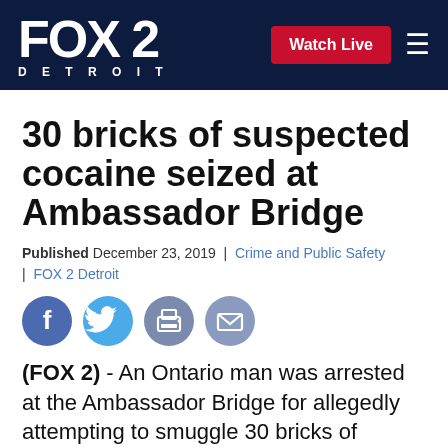FOX 2 DETROIT | Watch Live
30 bricks of suspected cocaine seized at Ambassador Bridge
Published December 23, 2019  |  Crime and Public Safety  |  FOX 2 Detroit
[Figure (other): Social media sharing icons: Facebook, Twitter, Print, Email]
(FOX 2) - An Ontario man was arrested at the Ambassador Bridge for allegedly attempting to smuggle 30 bricks of suspected cocaine into Canada.
Manjinder Gill, 44, was charged with importation of a controlled substance and possession for the purpose